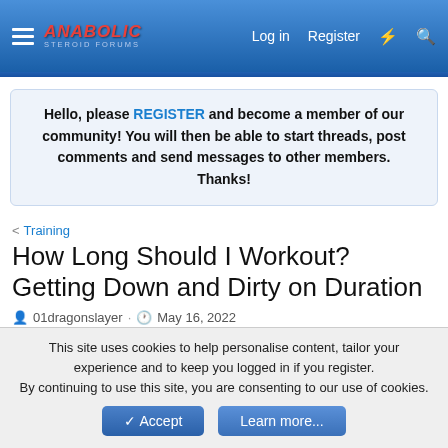Anabolic Steroid Forums — Log in | Register
Hello, please REGISTER and become a member of our community! You will then be able to start threads, post comments and send messages to other members. Thanks!
< Training
How Long Should I Workout? Getting Down and Dirty on Duration
01dragonslayer · May 16, 2022
01dragonslayer
Registered User  Registered Member
This site uses cookies to help personalise content, tailor your experience and to keep you logged in if you register.
By continuing to use this site, you are consenting to our use of cookies.